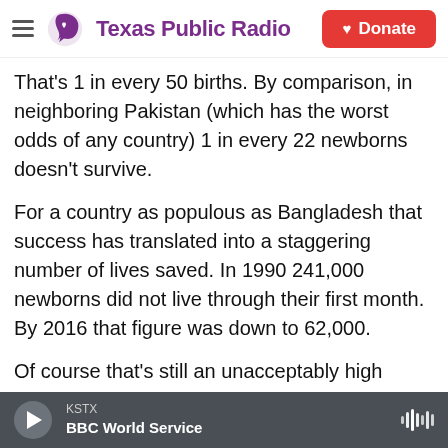Texas Public Radio
That's 1 in every 50 births. By comparison, in neighboring Pakistan (which has the worst odds of any country) 1 in every 22 newborns doesn't survive.
For a country as populous as Bangladesh that success has translated into a staggering number of lives saved. In 1990 241,000 newborns did not live through their first month. By 2016 that figure was down to 62,000.
Of course that's still an unacceptably high number of deaths. And Bangladesh is now in the midst of
KSTX
BBC World Service